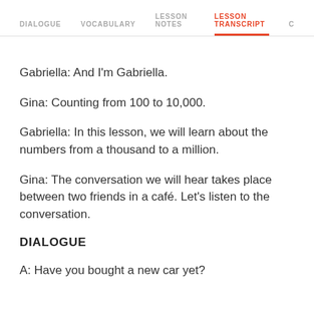DIALOGUE  VOCABULARY  LESSON NOTES  LESSON TRANSCRIPT  C
Gabriella: And I'm Gabriella.
Gina: Counting from 100 to 10,000.
Gabriella: In this lesson, we will learn about the numbers from a thousand to a million.
Gina: The conversation we will hear takes place between two friends in a café. Let's listen to the conversation.
DIALOGUE
A: Have you bought a new car yet?